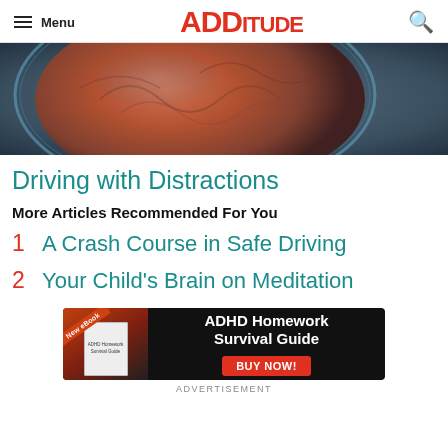Menu | ADDitude
[Figure (photo): Close-up artistic image of a brain-like sphere with orange and blue tones, representing distracted or active brain activity]
Driving with Distractions
More Articles Recommended For You
1   A Crash Course in Safe Driving
2   Your Child's Brain on Meditation
[Figure (infographic): Advertisement banner for ADHD Homework Survival Guide eBook with BUY NOW button]
ADVERTISEMENT